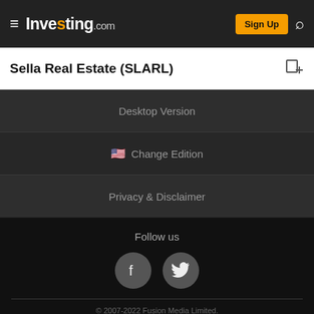Investing.com — Sign Up
Sella Real Estate (SLARL)
Desktop Version
🇺🇸 Change Edition
Privacy & Disclaimer
Follow us
[Figure (illustration): Facebook and Twitter social media icon circles]
© 2007-2022 Fusion Media Limited.
[Figure (infographic): Advertisement banner: Try AI-Guided Investing Only $7/mo. magnifi. Advisory services are offered through Magnifi LLC, an SEC registered investment advisor.]